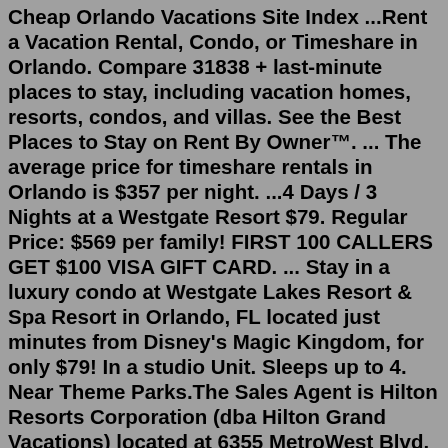Cheap Orlando Vacations Site Index ...Rent a Vacation Rental, Condo, or Timeshare in Orlando. Compare 31838 + last-minute places to stay, including vacation homes, resorts, condos, and villas. See the Best Places to Stay on Rent By Owner™. ... The average price for timeshare rentals in Orlando is $357 per night. ...4 Days / 3 Nights at a Westgate Resort $79. Regular Price: $569 per family! FIRST 100 CALLERS GET $100 VISA GIFT CARD. ... Stay in a luxury condo at Westgate Lakes Resort & Spa Resort in Orlando, FL located just minutes from Disney's Magic Kingdom, for only $79! In a studio Unit. Sleeps up to 4. Near Theme Parks.The Sales Agent is Hilton Resorts Corporation (dba Hilton Grand Vacations) located at 6355 MetroWest Blvd. Suite 180, Orlando, FL 32835, to advertise Hilton Grand Vacations Club vacation ownership (timeshare). Hilton Resorts Corporation is also the developer of timeshare interests in Florida, Nevada, Hawaii and New York.Hilton Grand Vacations (Hilton's timeshare brand) is offering discount rates and points. As part